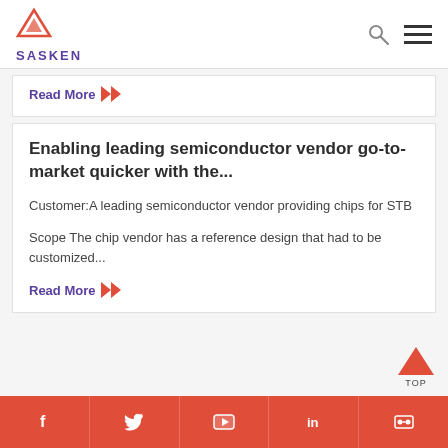SASKEN
Read More
Enabling leading semiconductor vendor go-to-market quicker with the...
Customer:A leading semiconductor vendor providing chips for STB
Scope The chip vendor has a reference design that had to be customized...
Read More
Social media links: Facebook, Twitter, YouTube, LinkedIn, SlideShare